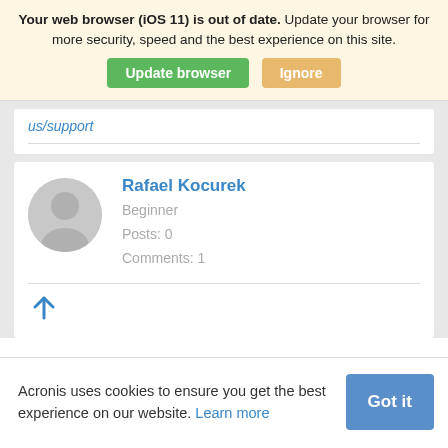Your web browser (iOS 11) is out of date. Update your browser for more security, speed and the best experience on this site.
[Figure (screenshot): Update browser and Ignore buttons in browser update banner]
us/support
Rafael Kocurek
Beginner
Posts: 0
Comments: 1
[Figure (photo): Up arrow icon in blue]
Acronis uses cookies to ensure you get the best experience on our website. Learn more
[Figure (screenshot): Got it button for cookie consent]